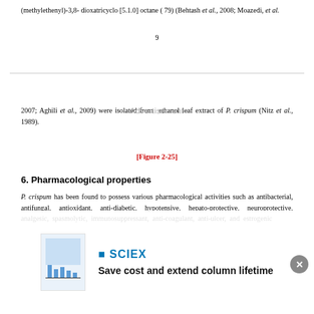(methylethenyl)-3,8- dioxatricyclo [5.1.0] octane (79) (Behtash et al., 2008; Moazedi, et al.
9
2007; Aghili et al., 2009) were isolated from ethanol leaf extract of P. crispum (Nitz et al., 1989).
[Figure 2-25]
6. Pharmacological properties
P. crispum has been found to possess various pharmacological activities such as antibacterial, antifungal, antioxidant, anti-diabetic, hypotensive, hepato-protective, neuroprotective, analgesic, spasmolytic, immunosuppressant, anti-coagulant, anti-ulcer, and estrogenic